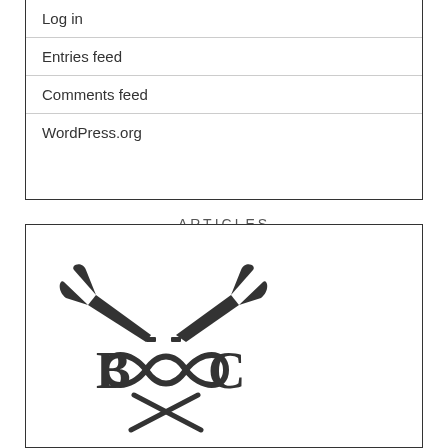Log in
Entries feed
Comments feed
WordPress.org
ARTICLES
[Figure (logo): B&C logo with two crossed trumpets and intertwined loops, monochrome]